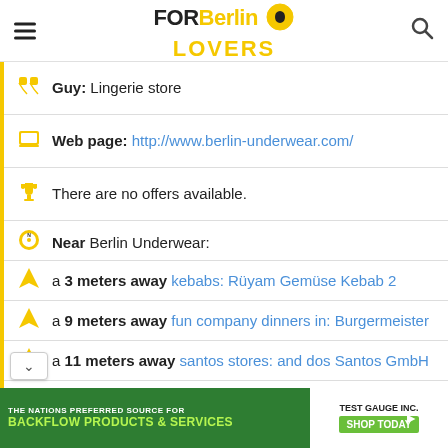FOR Berlin LOVERS
Guy: Lingerie store
Web page: http://www.berlin-underwear.com/
There are no offers available.
Near Berlin Underwear:
a 3 meters away kebabs: Rüyam Gemüse Kebab 2
a 9 meters away fun company dinners in: Burgermeister
a 11 meters away santos stores: and dos Santos GmbH
Are you the owner of the business? PROMOTE
[Figure (screenshot): Advertisement banner: The Nations Preferred Source for Backflow Products & Services - Test Gauge Inc.]